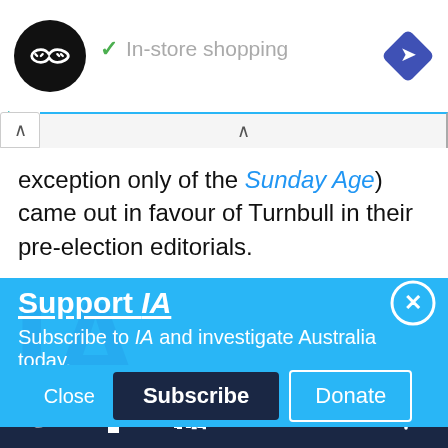[Figure (screenshot): Ad banner with black circular logo with infinity-like arrows symbol, checkmark and 'In-store shopping' text, blue diamond navigation arrow icon top right, small play and close controls bottom left]
exception only of the Sunday Age) came out in favour of Turnbull in their pre-election editorials.
Support IA
Subscribe to IA and investigate Australia today.
Close   Subscribe   Donate
[Figure (screenshot): Social media footer bar with Twitter, Facebook, LinkedIn, Flipboard, chain-link, and plus icons in white on dark navy background]